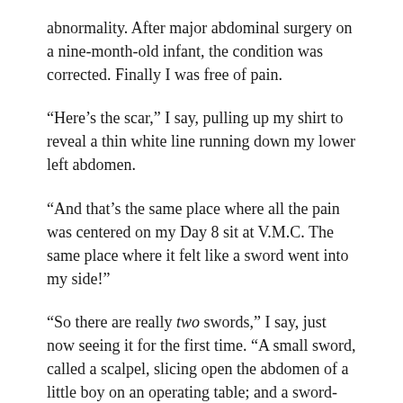abnormality. After major abdominal surgery on a nine-month-old infant, the condition was corrected. Finally I was free of pain.
“Here’s the scar,” I say, pulling up my shirt to reveal a thin white line running down my lower left abdomen.
“And that’s the same place where all the pain was centered on my Day 8 sit at V.M.C. The same place where it felt like a sword went into my side!”
“So there are really two swords,” I say, just now seeing it for the first time. “A small sword, called a scalpel, slicing open the abdomen of a little boy on an operating table; and a sword-like pain going into that same abdomen 50 years later.
“The first sword ended nine months of agony; the second sword re-created that agony. And it had to be re-created. For only then could it begin to heal. Because as some people say